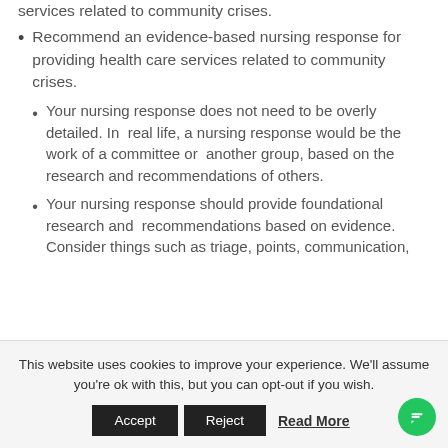Recommend an evidence-based nursing response for providing health care services related to community crises.
Your nursing response does not need to be overly detailed. In real life, a nursing response would be the work of a committee or another group, based on the research and recommendations of others.
Your nursing response should provide foundational research and recommendations based on evidence. Consider things such as triage, points, communication,
This website uses cookies to improve your experience. We'll assume you're ok with this, but you can opt-out if you wish.